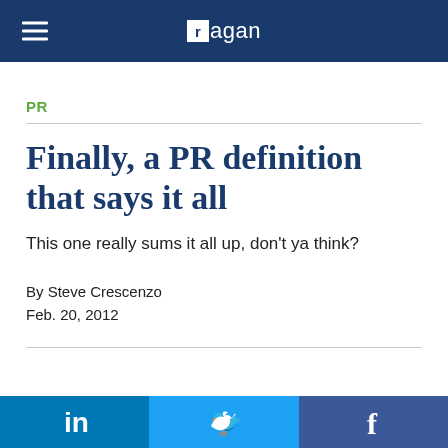Ragan
PR
Finally, a PR definition that says it all
This one really sums it all up, don’t ya think?
By Steve Crescenzo
Feb. 20, 2012